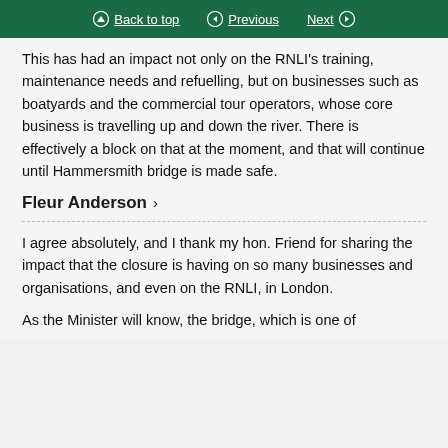Back to top | Previous | Next
This has had an impact not only on the RNLI's training, maintenance needs and refuelling, but on businesses such as boatyards and the commercial tour operators, whose core business is travelling up and down the river. There is effectively a block on that at the moment, and that will continue until Hammersmith bridge is made safe.
Fleur Anderson >
I agree absolutely, and I thank my hon. Friend for sharing the impact that the closure is having on so many businesses and organisations, and even on the RNLI, in London.
As the Minister will know, the bridge, which is one of